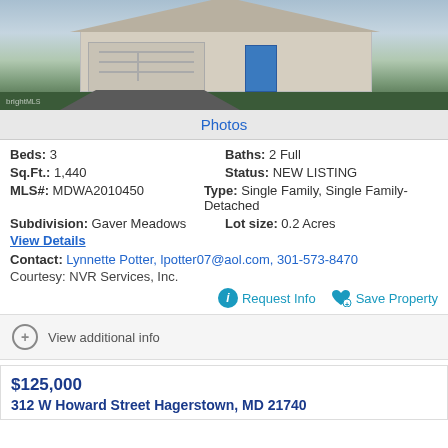[Figure (photo): Exterior photo of a single-family home with white/gray siding, double garage, and blue front door]
Photos
Beds: 3    Baths: 2 Full
Sq.Ft.: 1,440    Status: NEW LISTING
MLS#: MDWA2010450    Type: Single Family, Single Family-Detached
Subdivision: Gaver Meadows    Lot size: 0.2 Acres
View Details
Contact: Lynnette Potter, lpotter07@aol.com, 301-573-8470
Courtesy: NVR Services, Inc.
Request Info    Save Property
View additional info
$125,000
312 W Howard Street Hagerstown, MD 21740